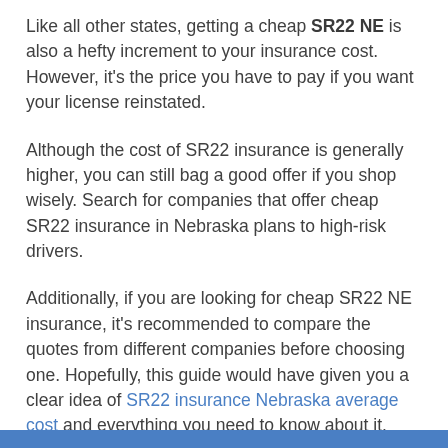Like all other states, getting a cheap SR22 NE is also a hefty increment to your insurance cost. However, it's the price you have to pay if you want your license reinstated.
Although the cost of SR22 insurance is generally higher, you can still bag a good offer if you shop wisely. Search for companies that offer cheap SR22 insurance in Nebraska plans to high-risk drivers.
Additionally, if you are looking for cheap SR22 NE insurance, it's recommended to compare the quotes from different companies before choosing one. Hopefully, this guide would have given you a clear idea of SR22 insurance Nebraska average cost and everything you need to know about it.